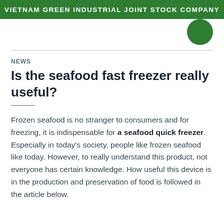VIETNAM GREEN INDUSTRIAL JOINT STOCK COMPANY
NEWS
Is the seafood fast freezer really useful?
Frozen seafood is no stranger to consumers and for freezing, it is indispensable for a seafood quick freezer. Especially in today's society, people like frozen seafood like today. However, to really understand this product, not everyone has certain knowledge. How useful this device is in the production and preservation of food is followed in the article below.